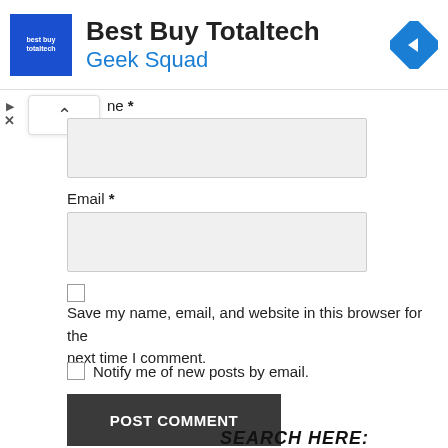[Figure (screenshot): Best Buy Totaltech advertisement banner with blue logo square, bold title 'Best Buy Totaltech', blue subtitle 'Geek Squad', and a blue diamond navigation icon on the right]
ne *
Email *
Save my name, email, and website in this browser for the next time I comment.
Notify me of new posts by email.
POST COMMENT
SEARCH HERE: